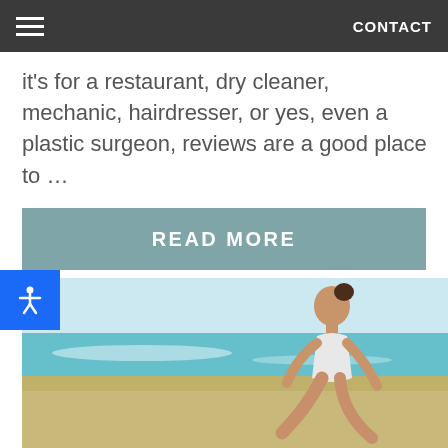CONTACT
it's for a restaurant, dry cleaner, mechanic, hairdresser, or yes, even a plastic surgeon, reviews are a good place to ...
READ MORE
[Figure (photo): Woman in white swimsuit sitting on a beach with turquoise ocean water in the background, smiling and looking down]